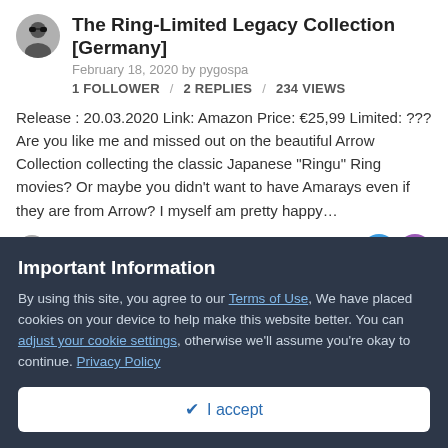The Ring-Limited Legacy Collection [Germany]
February 18, 2020 by pygospa
1 FOLLOWER / 2 REPLIES / 234 VIEWS
Release : 20.03.2020 Link: Amazon Price: €25,99 Limited: ??? Are you like me and missed out on the beautiful Arrow Collection collecting the classic Japanese "Ringu" Ring movies? Or maybe you didn't want to have Amarays even if they are from Arrow? I myself am pretty happy…
Last reply by pygospa, February 21, 2020
Batman Ninja (Limited First Press
Important Information
By using this site, you agree to our Terms of Use, We have placed cookies on your device to help make this website better. You can adjust your cookie settings, otherwise we'll assume you're okay to continue. Privacy Policy
I accept